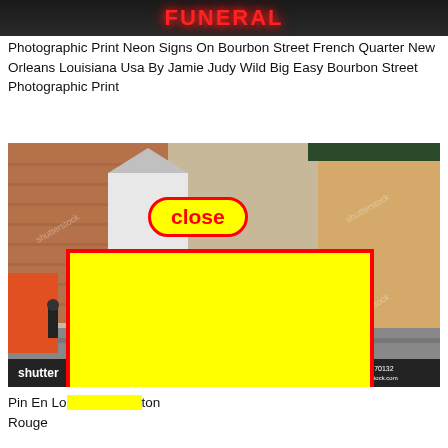[Figure (photo): Top portion of a photo showing a neon sign reading FUNERAL on Bourbon Street, New Orleans, with red neon lettering on dark background.]
Photographic Print Neon Signs On Bourbon Street French Quarter New Orleans Louisiana Usa By Jamie Judy Wild Big Easy Bourbon Street Photographic Print
[Figure (photo): Street photo of Bourbon Street French Quarter New Orleans showing brick buildings, storefronts, pedestrians, with Shutterstock watermark. A yellow rectangle with red border overlays the lower center portion, and a yellow close button with red border and red text 'close' appears near top center of the image.]
Pin En Lo… ton Rouge